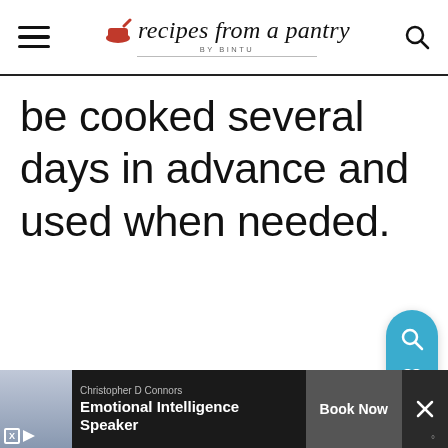recipes from a pantry BY BINTU
be cooked several days in advance and used when needed.
[Figure (screenshot): Floating action buttons (teal pill with search and heart icons, white circle with share icon) on the right side of the page]
[Figure (screenshot): Advertisement banner at bottom: Christopher D Connors - Emotional Intelligence Speaker - Book Now button, with XD play controls and X close button]